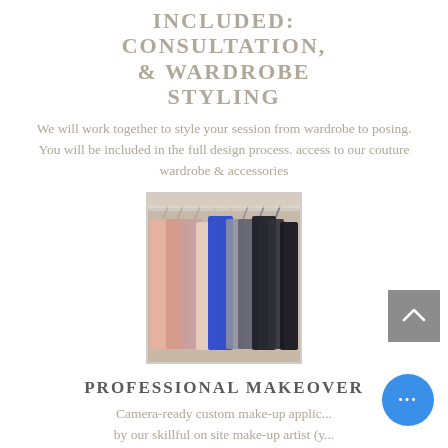INCLUDED: CONSULTATION, & WARDROBE STYLING
We will work together to style your session from wardrobe to posing. You will be included in the full design process. access to our couture wardrobe & accessories
[Figure (photo): A clothing rack with various garments hanging on hangers, including pink, blue, beige, and dark clothing items.]
PROFESSIONAL MAKEOVER
Camera-ready custom make-up applic... by our skillful on site make-up artist (y... meet her, you love her!)
Glammed up or natural/refined, it's all up to